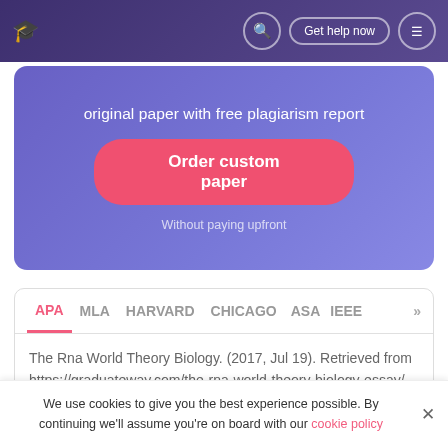Get help now
original paper with free plagiarism report
Order custom paper
Without paying upfront
APA  MLA  HARVARD  CHICAGO  ASA  IEEE  >>
The Rna World Theory Biology. (2017, Jul 19). Retrieved from https://graduateway.com/the-rna-world-theory-biology-essay/
We use cookies to give you the best experience possible. By continuing we'll assume you're on board with our cookie policy